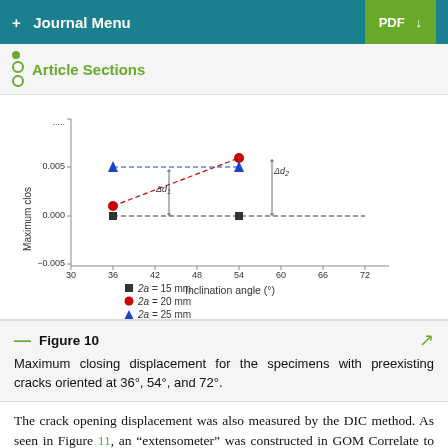+ Journal Menu | PDF ↓
Article Sections
[Figure (scatter-plot): Scatter plot of maximum closing displacement vs inclination angle with annotations Δd1 and Δd2]
Figure 10
Maximum closing displacement for the specimens with preexisting cracks oriented at 36°, 54°, and 72°.
The crack opening displacement was also measured by the DIC method. As seen in Figure 11, an "extensometer" was constructed in GOM Correlate to measure the distance between two points (points A and B) located at two sides of the